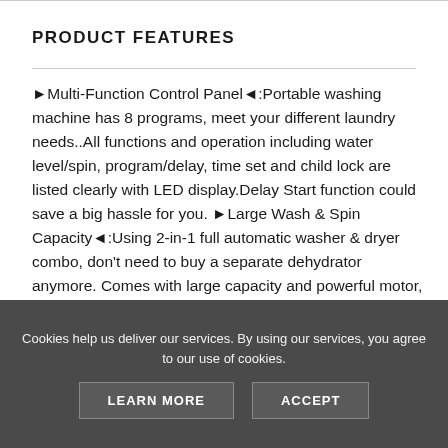PRODUCT FEATURES
►Multi-Function Control Panel◄:Portable washing machine has 8 programs, meet your different laundry needs..All functions and operation including water level/spin, program/delay, time set and child lock are listed clearly with LED display.Delay Start function could save a big hassle for you. ►Large Wash & Spin Capacity◄:Using 2-in-1 full automatic washer & dryer combo, don't need to buy a separate dehydrator anymore. Comes with large capacity and powerful motor, the washer can wash up to 12.6 lbs of clothes.Through the transparent plastic lid, you can get a clear view of washing process. ►Portable & Energy...
Cookies help us deliver our services. By using our services, you agree to our use of cookies.